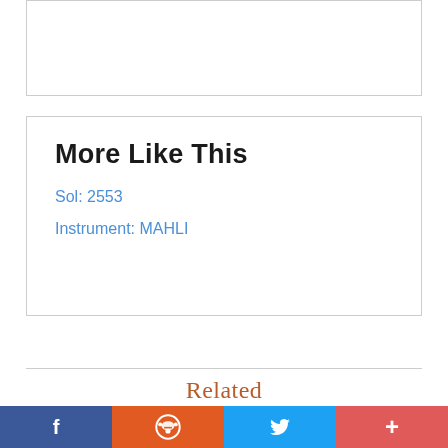More Like This
Sol: 2553
Instrument: MAHLI
Related
[Figure (photo): Mars surface close-up photograph showing sandy/rocky terrain texture, brownish-gray colors]
f  reddit  twitter  +